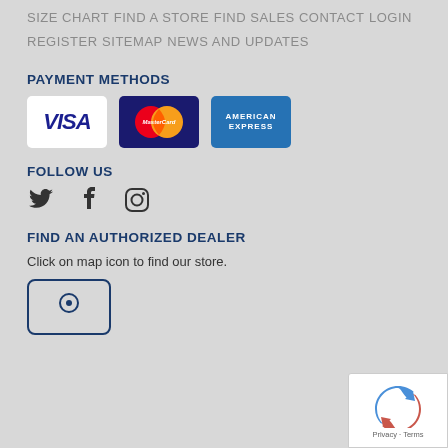SIZE CHART
FIND A STORE
FIND SALES CONTACT
LOGIN
REGISTER
SITEMAP
NEWS AND UPDATES
PAYMENT METHODS
[Figure (logo): Visa, MasterCard, American Express payment logos]
FOLLOW US
[Figure (illustration): Twitter, Facebook, Instagram social media icons]
FIND AN AUTHORIZED DEALER
Click on map icon to find our store.
[Figure (illustration): Map icon button]
[Figure (illustration): reCAPTCHA Privacy - Terms badge]